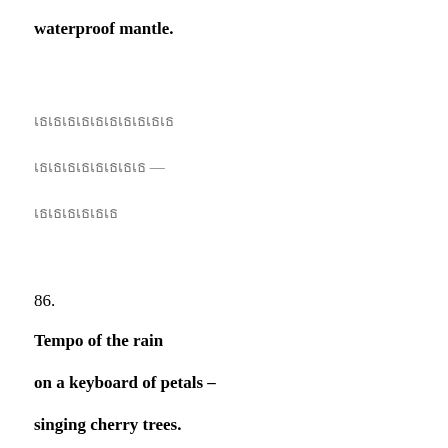waterproof mantle.
เธเธเธเธเธเธเธเธเธเธ
เธเธเธเธเธเธเธเธ —
เธเธเธเธเธเธ
86.
Tempo of the rain
on a keyboard of petals –
singing cherry trees.